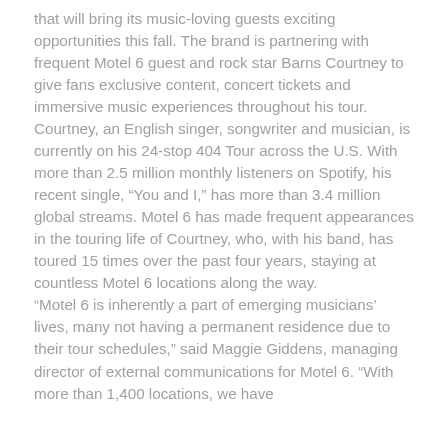that will bring its music-loving guests exciting opportunities this fall. The brand is partnering with frequent Motel 6 guest and rock star Barns Courtney to give fans exclusive content, concert tickets and immersive music experiences throughout his tour.
Courtney, an English singer, songwriter and musician, is currently on his 24-stop 404 Tour across the U.S. With more than 2.5 million monthly listeners on Spotify, his recent single, “You and I,” has more than 3.4 million global streams. Motel 6 has made frequent appearances in the touring life of Courtney, who, with his band, has toured 15 times over the past four years, staying at countless Motel 6 locations along the way.
“Motel 6 is inherently a part of emerging musicians’ lives, many not having a permanent residence due to their tour schedules,” said Maggie Giddens, managing director of external communications for Motel 6. “With more than 1,400 locations, we have